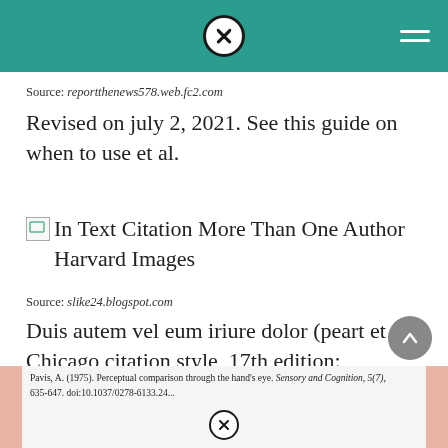[Figure (other): Teal header bar with close (X) button in center and hamburger menu icon on the right]
Source: reportthenews578.web.fc2.com
Revised on july 2, 2021. See this guide on when to use et al.
[Figure (other): Broken image placeholder with alt text: In Text Citation More Than One Author Harvard Images]
Source: slike24.blogspot.com
Duis autem vel eum iriure dolor (peart et al. Chicago citation style, 17th edition:
[Figure (screenshot): Partial screenshot of a citation entry: Pavis, A. (1975). Perceptual comparison through the hand's eye. Sensory and Cognition, 5(7), 635-647. doi:10.1037/0278-6133.24... with a close button overlay]